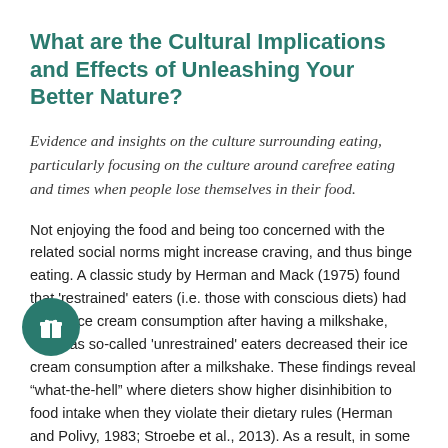What are the Cultural Implications and Effects of Unleashing Your Better Nature?
Evidence and insights on the culture surrounding eating, particularly focusing on the culture around carefree eating and times when people lose themselves in their food.
Not enjoying the food and being too concerned with the related social norms might increase craving, and thus binge eating. A classic study by Herman and Mack (1975) found that 'restrained' eaters (i.e. those with conscious diets) had higher ice cream consumption after having a milkshake, whereas so-called 'unrestrained' eaters decreased their ice cream consumption after a milkshake. These findings reveal "what-the-hell" where dieters show higher disinhibition to food intake when they violate their dietary rules (Herman and Polivy, 1983; Stroebe et al., 2013). As a result, in some cases labelling food